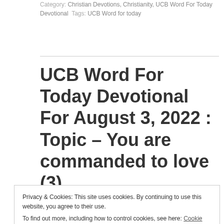Category: Christian Devotions, Christianity, UCB Word For Today Devotional  Tags: UCB Word for today
UCB Word For Today Devotional For August 3, 2022 : Topic – You are commanded to love (3)
By admin | August 3, 2022
Privacy & Cookies: This site uses cookies. By continuing to use this website, you agree to their use.
To find out more, including how to control cookies, see here: Cookie Policy
Close and accept